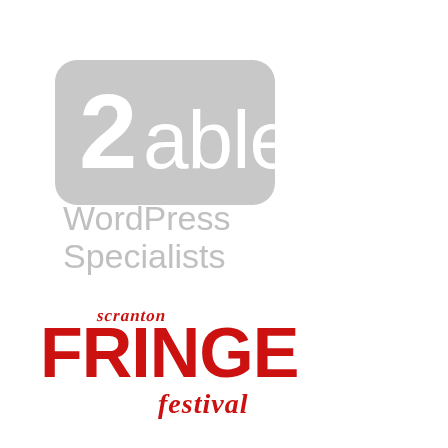[Figure (logo): 2able WordPress Specialists logo — light gray rounded rectangle with '2able' in white text, and 'WordPress Specialists' in gray below]
[Figure (logo): Scranton Fringe Festival logo — red text with grunge/brush style, showing 'scranton' in small script above large 'FRINGE' and 'festival' in handwritten style below]